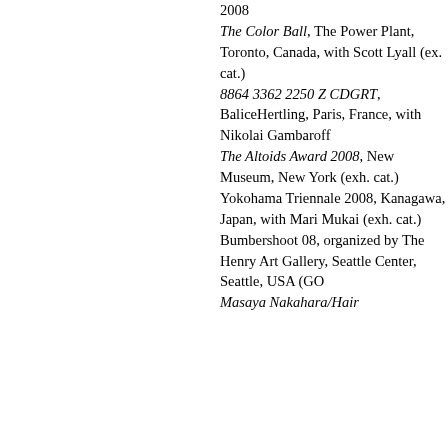2008
The Color Ball, The Power Plant, Toronto, Canada, with Scott Lyall (ex. cat.)
8864 3362 2250 Z CDGRT, BaliceHertling, Paris, France, with Nikolai Gambaroff
The Altoids Award 2008, New Museum, New York (exh. cat.)
Yokohama Triennale 2008, Kanagawa, Japan, with Mari Mukai (exh. cat.)
Bumbershoot 08, organized by The Henry Art Gallery, Seattle Center, Seattle, USA (GO
Masaya Nakahara/Hair